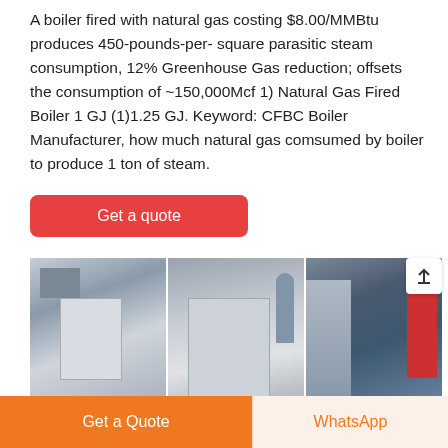A boiler fired with natural gas costing $8.00/MMBtu produces 450-pounds-per- square parasitic steam consumption, 12% Greenhouse Gas reduction; offsets the consumption of ~150,000Mcf 1) Natural Gas Fired Boiler 1 GJ (1)1.25 GJ. Keyword: CFBC Boiler Manufacturer, how much natural gas comsumed by boiler to produce 1 ton of steam.
[Figure (other): Red 'Get a quote' button]
[Figure (photo): Industrial boiler equipment photograph showing multiple boiler units and piping in an industrial facility]
[Figure (other): Bottom navigation bar with orange 'Get a Quote' button and 'WhatsApp' button]